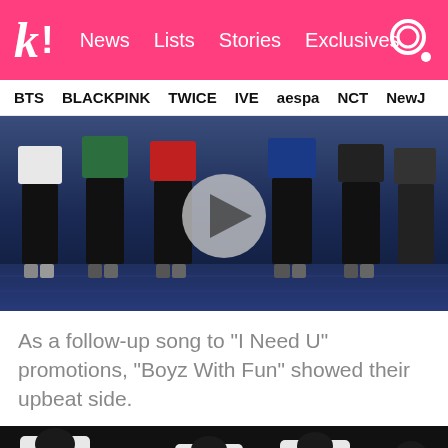k! News Lists Stories Exclusives
BTS BLACKPINK TWICE IVE aespa NCT NewJ
[Figure (photo): BTS performing on stage with a play button overlay, shot from waist down showing performers in various colored outfits on a reflective stage floor]
As a follow-up song to “I Need U” promotions, “Boyz With Fun” showed their upbeat side.
[Figure (photo): BTS members performing wearing white numbered jerseys/t-shirts on a dark stage]